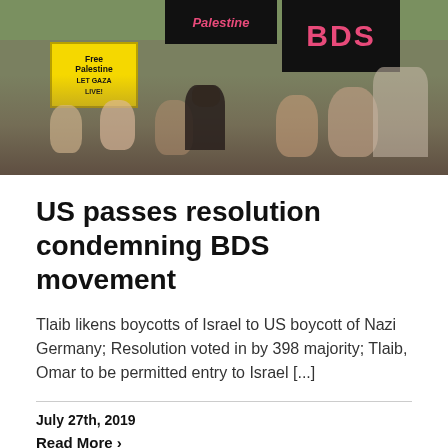[Figure (photo): Crowd of protesters holding signs including 'Free Palestine - LET GAZA LIVE!', 'Palestine', and 'BDS' at a demonstration]
US passes resolution condemning BDS movement
Tlaib likens boycotts of Israel to US boycott of Nazi Germany; Resolution voted in by 398 majority; Tlaib, Omar to be permitted entry to Israel [...]
July 27th, 2019
Read More >